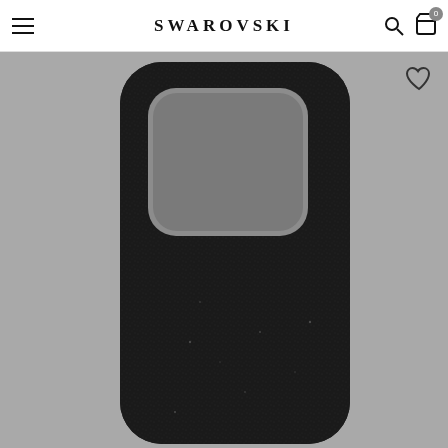SWAROVSKI
[Figure (photo): Black Swarovski phone case for iPhone 13/14, viewed from the back, with textured crystal-embedded surface and large camera cutout, displayed against a grey background]